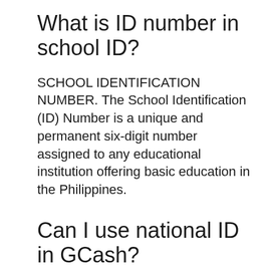What is ID number in school ID?
SCHOOL IDENTIFICATION NUMBER. The School Identification (ID) Number is a unique and permanent six-digit number assigned to any educational institution offering basic education in the Philippines.
Can I use national ID in GCash?
Hi, we’re sorry about this. We only accept the following valid IDs for verification for now: UMID, Driver’s License, Philhealth Card, SSS ID, Passport, and Voter’s ID. Please